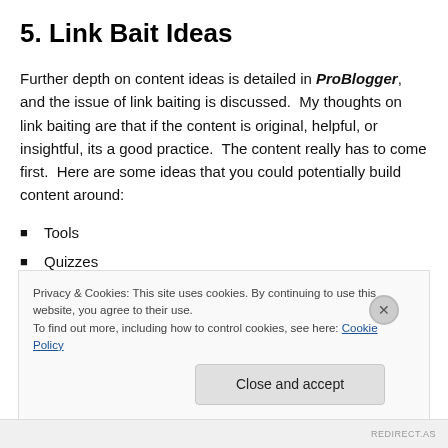5. Link Bait Ideas
Further depth on content ideas is detailed in ProBlogger, and the issue of link baiting is discussed.  My thoughts on link baiting are that if the content is original, helpful, or insightful, its a good practice.  The content really has to come first.  Here are some ideas that you could potentially build content around:
Tools
Quizzes
Privacy & Cookies: This site uses cookies. By continuing to use this website, you agree to their use.
To find out more, including how to control cookies, see here: Cookie Policy